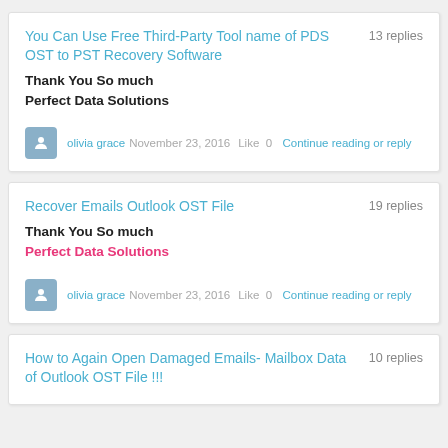You Can Use Free Third-Party Tool name of PDS OST to PST Recovery Software
13 replies
Thank You So much
Perfect Data Solutions
olivia grace   November 23, 2016   Like  0   Continue reading or reply
Recover Emails Outlook OST File
19 replies
Thank You So much
Perfect Data Solutions
olivia grace   November 23, 2016   Like  0   Continue reading or reply
How to Again Open Damaged Emails- Mailbox Data of Outlook OST File !!!
10 replies